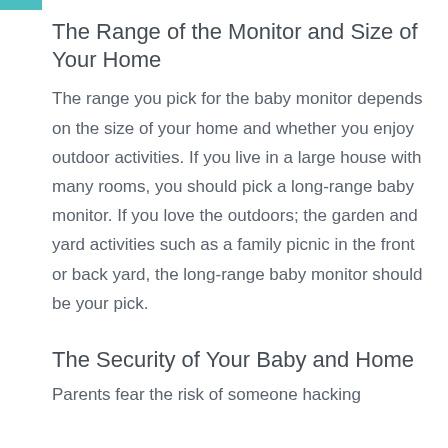The Range of the Monitor and Size of Your Home
The range you pick for the baby monitor depends on the size of your home and whether you enjoy outdoor activities. If you live in a large house with many rooms, you should pick a long-range baby monitor. If you love the outdoors; the garden and yard activities such as a family picnic in the front or back yard, the long-range baby monitor should be your pick.
The Security of Your Baby and Home
Parents fear the risk of someone hacking